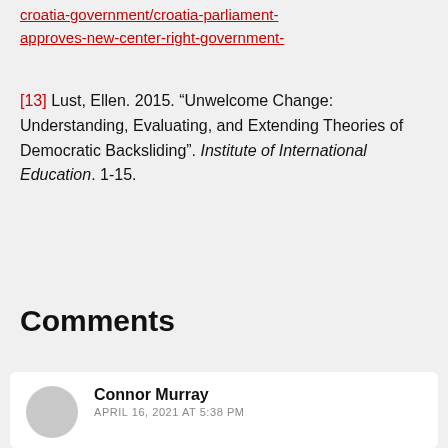croatia-government/croatia-parliament-approves-new-center-right-government-
[13] Lust, Ellen. 2015. “Unwelcome Change: Understanding, Evaluating, and Extending Theories of Democratic Backsliding”. Institute of International Education. 1-15.
Comments
Connor Murray
APRIL 16, 2021 AT 5:38 PM